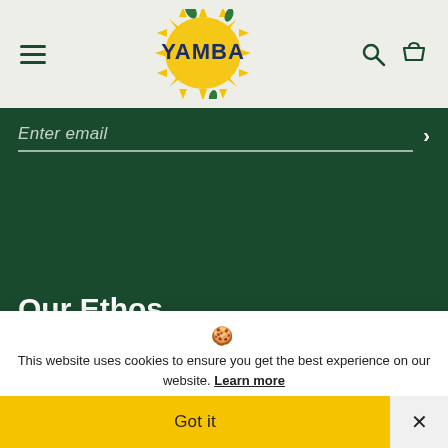[Figure (logo): Yamba logo: colorful sunburst with yellow and green, 'YAMBA' text in dark blue bold letters with green leaf accents]
Enter email
Our Ethos
We're on a mission to ensure every human gets their daily power food! But! We're on a mission to do it right!
🍪 This website uses cookies to ensure you get the best experience on our website. Learn more
Got it